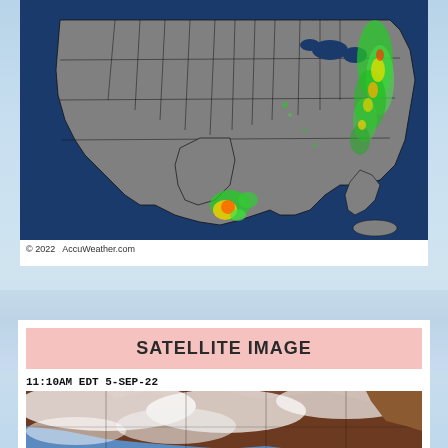[Figure (map): AccuWeather radar map of the continental United States showing precipitation. Green, yellow, and red radar returns visible along the eastern seaboard and near the Gulf Coast. Map background is dark blue (ocean) with gray US states outlined in black.]
© 2022  AccuWeather.com
SATELLITE IMAGE
11:10AM EDT 5-SEP-22
[Figure (map): Satellite image of North America showing cloud cover over Canada and portions of the US. Brown landmass visible, blue ocean, white cloud cover across central Canada region.]